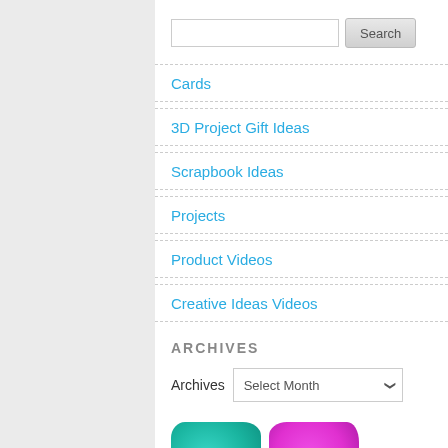Cards
3D Project Gift Ideas
Scrapbook Ideas
Projects
Product Videos
Creative Ideas Videos
ARCHIVES
Archives  Select Month
[Figure (illustration): Watercolor-style social media icons: Pinterest (teal), Facebook (magenta/pink), YouTube (green), Instagram (blue)]